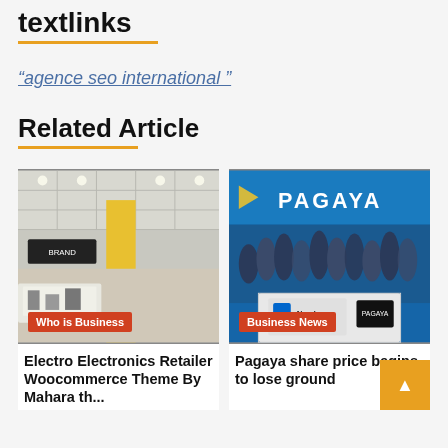textlinks
"agence seo international "
Related Article
[Figure (photo): Interior of an electronics retail store with yellow column and white display counters. Badge reads: Who is Business]
[Figure (photo): Group of people at Nasdaq podium with PAGAYA banner. Badge reads: Business News]
Electro Electronics Retailer Woocommerce Theme By Mahara th...
Pagaya share price begins to lose ground